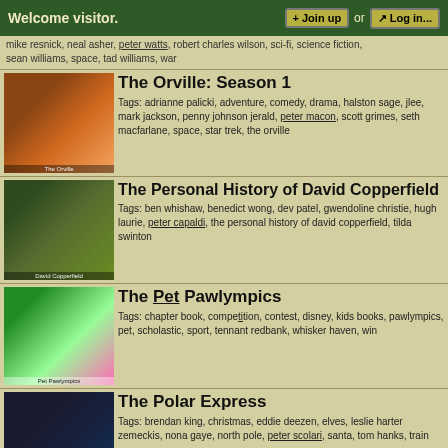Welcome visitor. | Join up | or | Log in...
mike resnick, neal asher, peter watts, robert charles wilson, sci-fi, science fiction, sean williams, space, tad williams, war
The Orville: Season 1
Tags: adrianne palicki, adventure, comedy, drama, halston sage, jlee, mark jackson, penny johnson jerald, peter macon, scott grimes, seth macfarlane, space, star trek, the orville
The Personal History of David Copperfield
Tags: ben whishaw, benedict wong, dev patel, gwendoline christie, hugh laurie, peter capaldi, the personal history of david copperfield, tilda swinton
The Pet Pawlympics
Tags: chapter book, competition, contest, disney, kids books, pawlympics, pet, scholastic, sport, tennant redbank, whisker haven, win
The Polar Express
Tags: brendan king, christmas, eddie deezen, elves, leslie harter zemeckis, nona gaye, north pole, peter scolari, santa, tom hanks, train
The Princess Bride
Tags: andre the giant, anne dyson, billy crystal, carol kane, cary elwes, chris sarandon, christopher guest, fred savage, mandy patinkin, mel smith, peter cook, peter falk, robin wright, wallace shawn
The Raven and Other Tales
Tags: comic, edgar allan poe, gothic, horror, narrative, novel, paperback, pete katz, scholastic